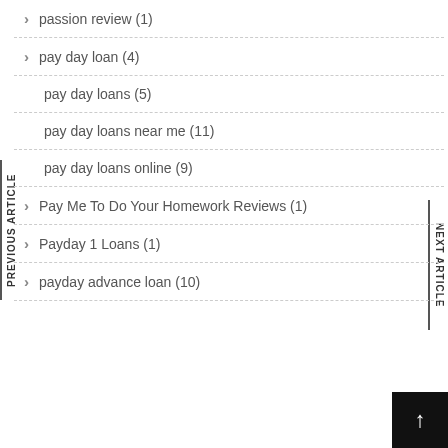passion review (1)
pay day loan (4)
pay day loans (5)
pay day loans near me (11)
pay day loans online (9)
Pay Me To Do Your Homework Reviews (1)
Payday 1 Loans (1)
payday advance loan (10)